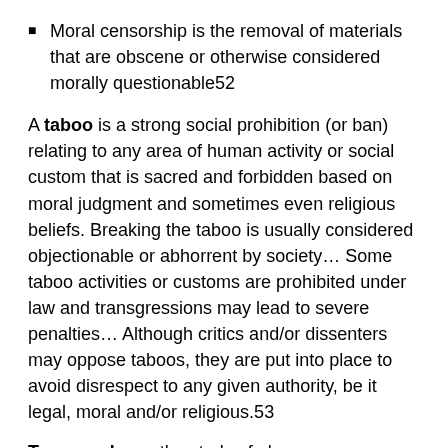Moral censorship is the removal of materials that are obscene or otherwise considered morally questionable52
A taboo is a strong social prohibition (or ban) relating to any area of human activity or social custom that is sacred and forbidden based on moral judgment and sometimes even religious beliefs. Breaking the taboo is usually considered objectionable or abhorrent by society… Some taboo activities or customs are prohibited under law and transgressions may lead to severe penalties… Although critics and/or dissenters may oppose taboos, they are put into place to avoid disrespect to any given authority, be it legal, moral and/or religious.53
Topography as the study of place, distinguished… by focusing not on the physical shape of the surface, but on